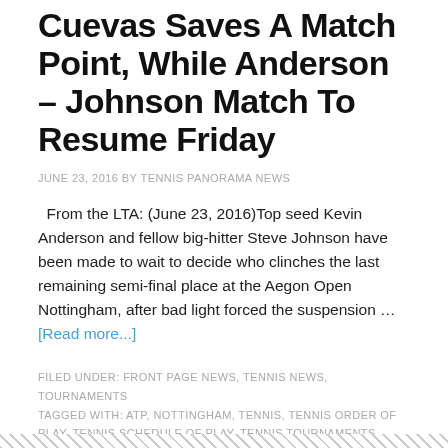Cuevas Saves A Match Point, While Anderson – Johnson Match To Resume Friday
JUNE 23, 2016 BY TENNIS PANORAMA NEWS
From the LTA: (June 23, 2016)Top seed Kevin Anderson and fellow big-hitter Steve Johnson have been made to wait to decide who clinches the last remaining semi-final place at the Aegon Open Nottingham, after bad light forced the suspension … [Read more...]
FILED UNDER: FRONT PAGE NEWS, TENNIS NEWS, TOURNAMENTS
TAGGED WITH: ATP, NOTTINGHAM, TENNIS, TENNIS ORDER OF PLAY, TENNIS SCHEDULE OF PLAY, TENNIS TOURNAMENTS